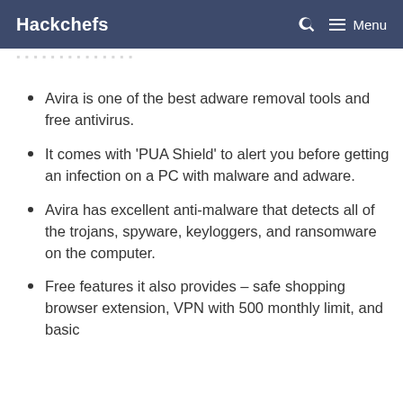Hackchefs  Menu
Avira is one of the best adware removal tools and free antivirus.
It comes with ‘PUA Shield’ to alert you before getting an infection on a PC with malware and adware.
Avira has excellent anti-malware that detects all of the trojans, spyware, keyloggers, and ransomware on the computer.
Free features it also provides – safe shopping browser extension, VPN with 500 monthly limit, and basic